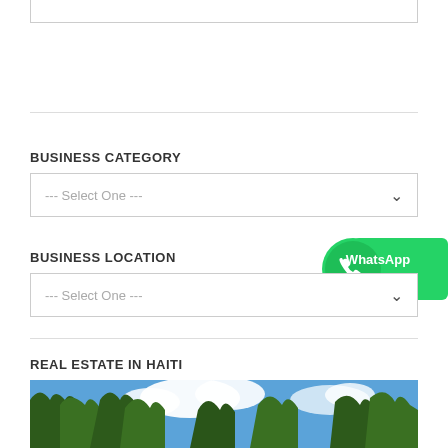--- Select One ---
BUSINESS CATEGORY
--- Select One ---
BUSINESS LOCATION
[Figure (screenshot): WhatsApp Share button badge with green background and phone icon]
--- Select One ---
REAL ESTATE IN HAITI
[Figure (photo): Photograph of trees against a blue sky with white clouds]